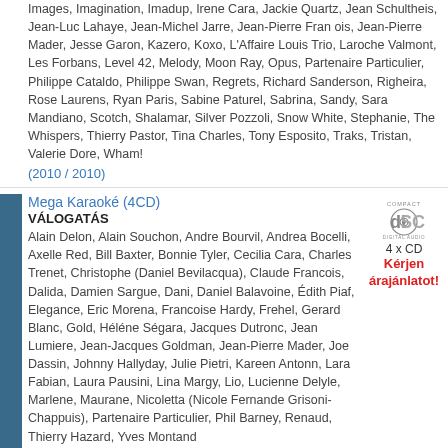Images, Imagination, Imadup, Irene Cara, Jackie Quartz, Jean Schultheis, Jean-Luc Lahaye, Jean-Michel Jarre, Jean-Pierre Fran ois, Jean-Pierre Mader, Jesse Garon, Kazero, Koxo, L'Affaire Louis Trio, Laroche Valmont, Les Forbans, Level 42, Melody, Moon Ray, Opus, Partenaire Particulier, Philippe Cataldo, Philippe Swan, Regrets, Richard Sanderson, Righeira, Rose Laurens, Ryan Paris, Sabine Paturel, Sabrina, Sandy, Sara Mandiano, Scotch, Shalamar, Silver Pozzoli, Snow White, Stephanie, The Whispers, Thierry Pastor, Tina Charles, Tony Esposito, Traks, Tristan, Valerie Dore, Wham!
(2010 / 2010)
Mega Karaoké (4CD)
VÁLOGATÁS
Alain Delon, Alain Souchon, Andre Bourvil, Andrea Bocelli, Axelle Red, Bill Baxter, Bonnie Tyler, Cecilia Cara, Charles Trenet, Christophe (Daniel Bevilacqua), Claude Francois, Dalida, Damien Sargue, Dani, Daniel Balavoine, Édith Piaf, Elegance, Eric Morena, Francoise Hardy, Frehel, Gerard Blanc, Gold, Héléne Ségara, Jacques Dutronc, Jean Lumiere, Jean-Jacques Goldman, Jean-Pierre Mader, Joe Dassin, Johnny Hallyday, Julie Pietri, Kareen Antonn, Lara Fabian, Laura Pausini, Lina Margy, Lio, Lucienne Delyle, Marlene, Maurane, Nicoletta (Nicole Fernande Grisoni-Chappuis), Partenaire Particulier, Phil Barney, Renaud, Thierry Hazard, Yves Montand
(2010 / 2010)
Mega Tubes Soleil (4CD)
VÁLOGATÁS
740 Boys Ecouter, Afric Simone (Henrique Simone from Mozambique), Amii Stewart, Amina & Leslie, Anita Ward, Aynell